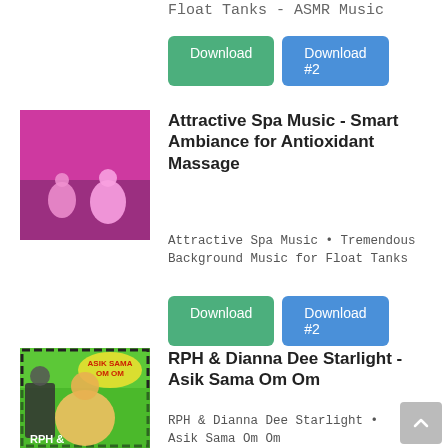Float Tanks - ASMR Music
Download | Download #2
[Figure (photo): Album art thumbnail with pink/magenta overlay showing two people meditating cross-legged outdoors]
Attractive Spa Music - Smart Ambiance for Antioxidant Massage
Attractive Spa Music • Tremendous Background Music for Float Tanks
Download | Download #2
[Figure (photo): Album art thumbnail for RPH & Dianna Dee Starlight - Asik Sama Om Om with colorful comic-style artwork]
RPH & Dianna Dee Starlight - Asik Sama Om Om
RPH & Dianna Dee Starlight • Asik Sama Om Om